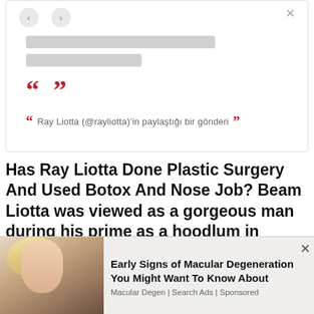[Figure (screenshot): Social media embed card with gray placeholder bars and red quotation mark icons]
Ray Liotta (@rayliotta)'in paylaştığı bir gönderi
Has Ray Liotta Done Plastic Surgery And Used Botox And Nose Job? Beam Liotta was viewed as a gorgeous man during his prime as a hoodlum in 'Goodfellas.' He
We use cookies on our website to give you the most relevant experience by remembering your preferences and repeat visits. By clicking "Accept All", you consent to the use of ALL the cookies. However, you may visit "Cookie Settings" to provide a controlled consent.
[Figure (photo): Advertisement banner showing a blonde woman and text about Macular Degeneration]
Early Signs of Macular Degeneration You Might Want To Know About
Macular Degen | Search Ads | Sponsored